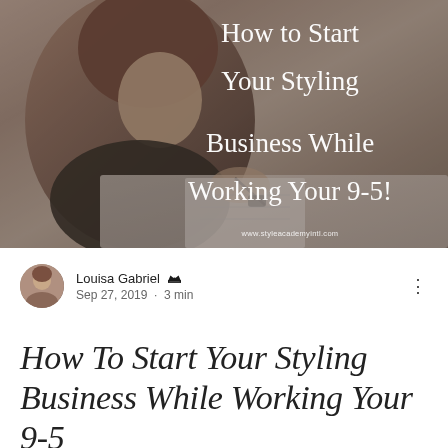[Figure (photo): Hero image of a woman writing/working at a desk, with overlay text reading 'How to Start Your Styling Business While Working Your 9-5!' and URL www.styleacademyintl.com at the bottom]
Louisa Gabriel [admin icon] Sep 27, 2019 · 3 min
How To Start Your Styling Business While Working Your 9-5